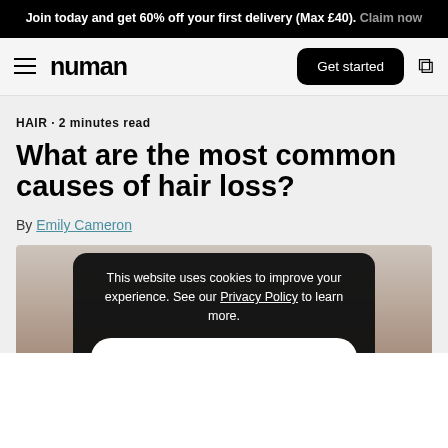Join today and get 60% off your first delivery (Max £40). Claim now
numan | Get started
HAIR · 2 minutes read
What are the most common causes of hair loss?
By Emily Cameron
[Figure (photo): Partial photo of a person with hair visible, cropped at bottom of page]
This website uses cookies to improve your experience. See our Privacy Policy to learn more.
Accept